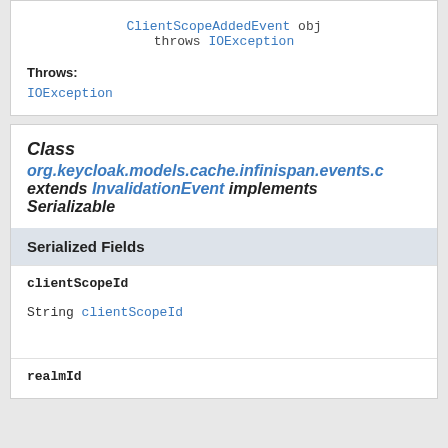throws IOException
Throws:
IOException
Class org.keycloak.models.cache.infinispan.events.C extends InvalidationEvent implements Serializable
Serialized Fields
clientScopeId
String clientScopeId
realmId